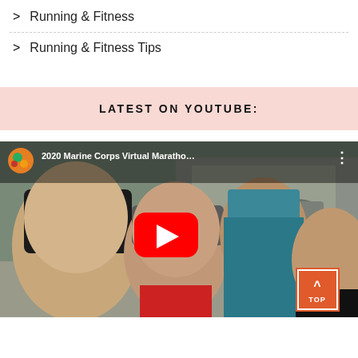> Running & Fitness
> Running & Fitness Tips
LATEST ON YOUTUBE:
[Figure (screenshot): YouTube video thumbnail showing four people taking a selfie outdoors. Video title reads '2020 Marine Corps Virtual Maratho...' with a red YouTube play button in the center. A channel thumbnail icon is shown in the top-left corner. A 'TOP' navigation button (orange/red with upward arrow) appears in the bottom-right corner.]